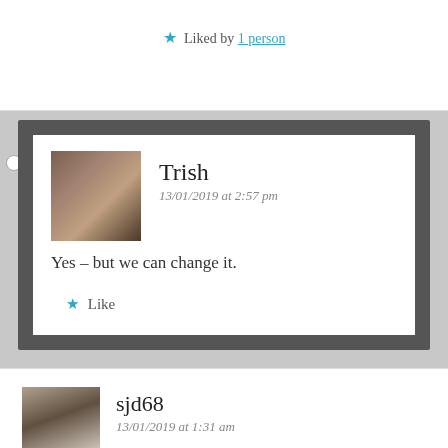★ Liked by 1 person
Trish
13/01/2019 at 2:57 pm

Yes – but we can change it.

★ Like
sjd68
13/01/2019 at 1:31 am

I have two daughters and we have these conversations all the time about speaking up and the importance of